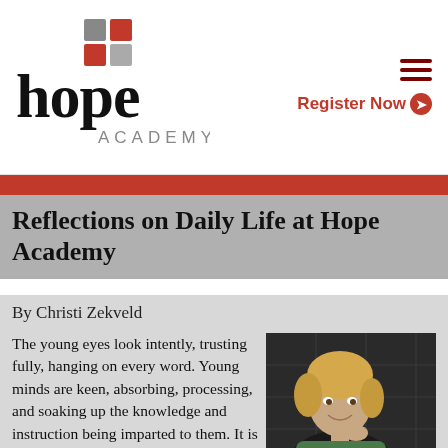[Figure (logo): Hope Academy logo with red and gray squares grid above bold 'hope' text and 'ACADEMY' beneath]
Register Now ❯
Reflections on Daily Life at Hope Academy
By Christi Zekveld
The young eyes look intently, trusting fully, hanging on every word. Young minds are keen, absorbing, processing, and soaking up the knowledge and instruction being imparted to them. It is a beautiful thing made increasingly so by the ethnic
[Figure (photo): Portrait photo of a young blonde woman smiling, posed with hand near chin against a dark tiled background]